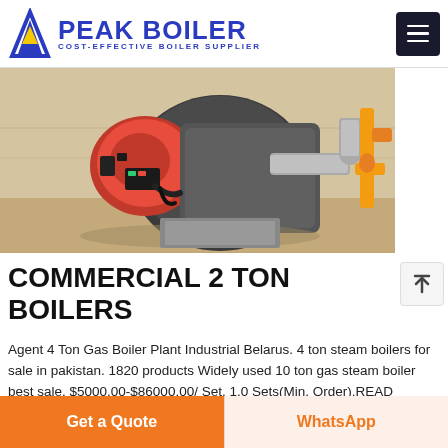PEAK BOILER — COST-EFFECTIVE BOILER SUPPLIER
[Figure (photo): Industrial commercial boiler with red combustion head and yellow gas pipes in a factory setting]
COMMERCIAL 2 TON BOILERS
Agent 4 Ton Gas Boiler Plant Industrial Belarus. 4 ton steam boilers for sale in pakistan. 1820 products Widely used 10 ton gas steam boiler best sale. $5000.00-$86000.00/ Set. 1.0 Sets(Min. Order).READ MORE. ibr boiler new 2 5 ton capacity